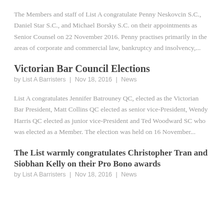The Members and staff of List A congratulate Penny Neskovcin S.C., Daniel Star S.C., and Michael Borsky S.C. on their appointments as Senior Counsel on 22 November 2016. Penny practises primarily in the areas of corporate and commercial law, bankruptcy and insolvency,...
Victorian Bar Council Elections
by List A Barristers | Nov 18, 2016 | News
List A congratulates Jennifer Batrouney QC, elected as the Victorian Bar President, Matt Collins QC elected as senior vice-President, Wendy Harris QC elected as junior vice-President and Ted Woodward SC who was elected as a Member. The election was held on 16 November...
The List warmly congratulates Christopher Tran and Siobhan Kelly on their Pro Bono awards
by List A Barristers | Nov 18, 2016 | News